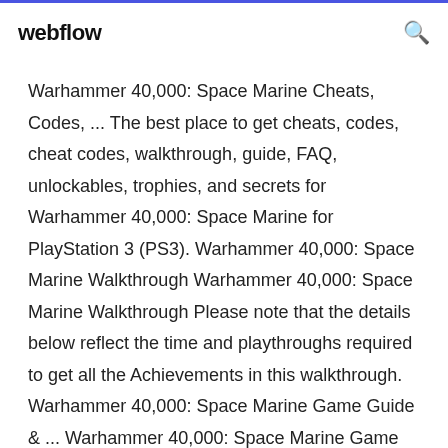webflow
Warhammer 40,000: Space Marine Cheats, Codes, ... The best place to get cheats, codes, cheat codes, walkthrough, guide, FAQ, unlockables, trophies, and secrets for Warhammer 40,000: Space Marine for PlayStation 3 (PS3). Warhammer 40,000: Space Marine Walkthrough Warhammer 40,000: Space Marine Walkthrough Please note that the details below reflect the time and playthroughs required to get all the Achievements in this walkthrough. Warhammer 40,000: Space Marine Game Guide & ... Warhammer 40,000: Space Marine Game Guide & Walkthrough Strategy Game Guide and Walkthrough for